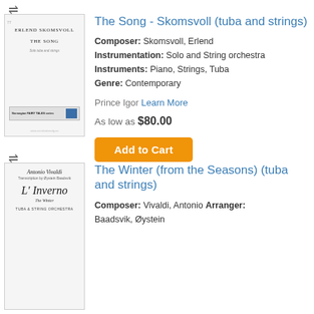[Figure (illustration): Sheet music cover for 'The Song' by Erlend Skomsvoll for tuba and strings]
The Song - Skomsvoll (tuba and strings)
Composer: Skomsvoll, Erlend Instrumentation: Solo and String orchestra Instruments: Piano, Strings, Tuba Genre: Contemporary
Prince Igor Learn More
As low as $80.00
Add to Cart
[Figure (illustration): Sheet music cover for 'L'Inverno (The Winter)' by Antonio Vivaldi, transcription by Øystein Baadsvik, for tuba and string orchestra]
The Winter (from the Seasons) (tuba and strings)
Composer: Vivaldi, Antonio Arranger: Baadsvik, Øystein